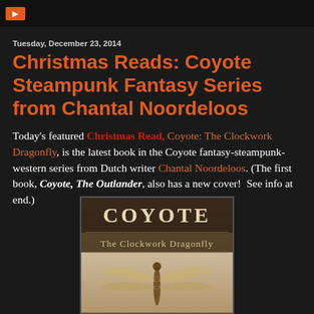Tuesday, December 23, 2014
Christmas Reads: Coyote Steampunk Fantasy Series from Chantal Noordeloos
Today's featured Christmas Read, Coyote: The Clockwork Dragonfly, is the latest book in the Coyote fantasy-steampunk-western series from Dutch writer Chantal Noordeloos. (The first book, Coyote, The Outlander, also has a new cover!  See info at end.)
[Figure (photo): Book cover for 'Coyote: The Clockwork Dragonfly' showing the word COYOTE in western-style lettering at the top, subtitle 'The Clockwork Dragonfly' below, and a mechanical/steampunk dragonfly image on a sepia-toned background.]